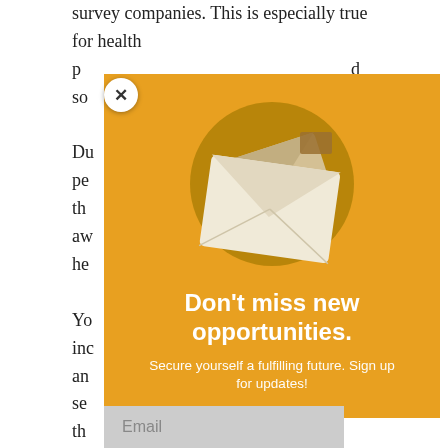survey companies. This is especially true for health p... d so...
Du... pe... ch th... aw... he...
Yo... inc... an... to se... ed th...
[Figure (infographic): Modal popup with orange/amber background showing two envelope icons on a dark gold circle, with bold white heading 'Don't miss new opportunities.' and subtitle 'Secure yourself a fulfilling future. Sign up for updates!' with an Email input field at the bottom. A close (X) button appears in the top-left corner of the modal.]
Th... pr...